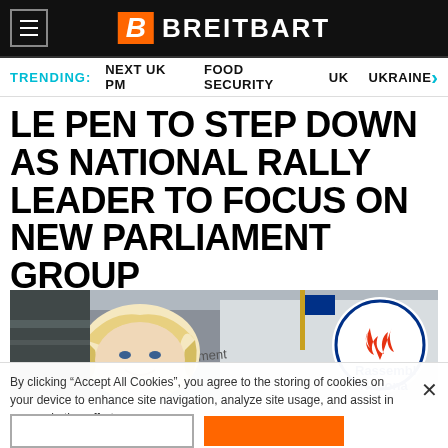BREITBART
TRENDING: NEXT UK PM   FOOD SECURITY   UK   UKRAINE
LE PEN TO STEP DOWN AS NATIONAL RALLY LEADER TO FOCUS ON NEW PARLIAMENT GROUP
[Figure (photo): Photo of Marine Le Pen in front of Rassemblement National signage]
By clicking “Accept All Cookies”, you agree to the storing of cookies on your device to enhance site navigation, analyze site usage, and assist in our marketing efforts.